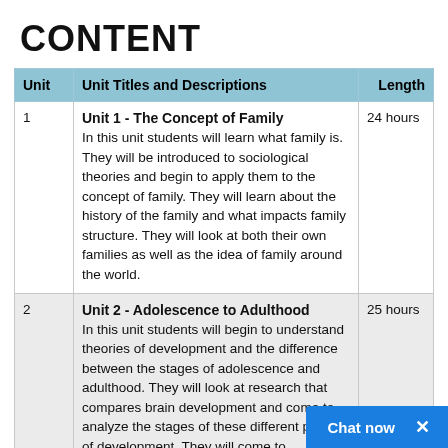CONTENT
| Unit | Unit Titles and Descriptions | Length |
| --- | --- | --- |
| 1 | Unit 1 - The Concept of Family
In this unit students will learn what family is. They will be introduced to sociological theories and begin to apply them to the concept of family. They will learn about the history of the family and what impacts family structure. They will look at both their own families as well as the idea of family around the world. | 24 hours |
| 2 | Unit 2 - Adolescence to Adulthood
In this unit students will begin to understand theories of development and the difference between the stages of adolescence and adulthood. They will look at research that compares brain development and come to analyze the stages of these different periods of development. They will come to understand that development and decisions made in adolescence will impact their adult... | 25 hours |